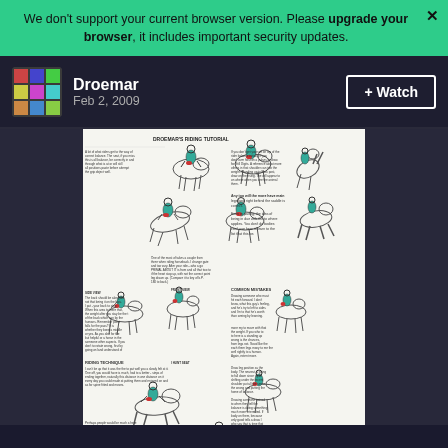We don't support your current browser version. Please upgrade your browser, it includes important security updates.
Droemar
Feb 2, 2009
+ Watch
[Figure (illustration): DROEMAR'S RIDING TUTORIAL - A multi-panel instructional illustration showing horse riding techniques with figures on horseback in various positions, with small blocks of explanatory text throughout. Green-highlighted rider figures demonstrate correct and incorrect riding positions. Sections include riding posture, leg positioning, common mistakes, and balance guidance.]